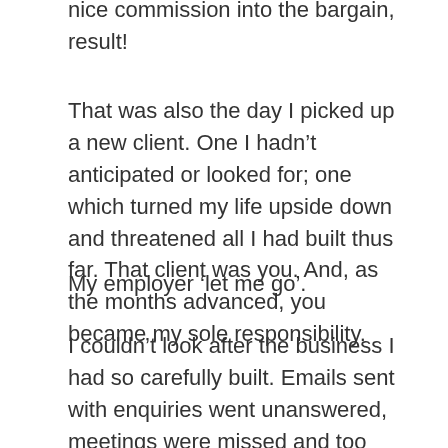nice commission into the bargain, result!
That was also the day I picked up a new client. One I hadn’t anticipated or looked for; one which turned my life upside down and threatened all I had built thus far. That client was you. And, as the months advanced, you became my sole responsibility.
My employer ‘let me go’.
I couldn’t look after the business I had so carefully built. Emails sent with enquiries went unanswered, meetings were missed and too many phone calls were ignored as yet another crisis in your decline hit.